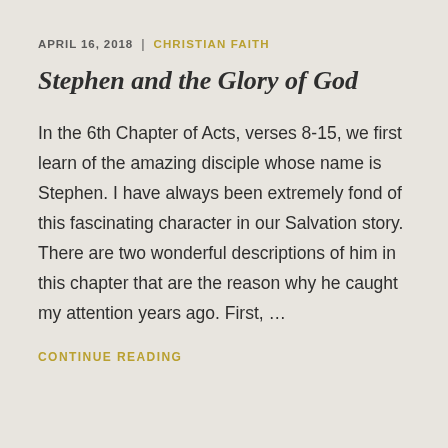APRIL 16, 2018  |  CHRISTIAN FAITH
Stephen and the Glory of God
In the 6th Chapter of Acts, verses 8-15, we first learn of the amazing disciple whose name is Stephen. I have always been extremely fond of this fascinating character in our Salvation story. There are two wonderful descriptions of him in this chapter that are the reason why he caught my attention years ago. First, …
CONTINUE READING